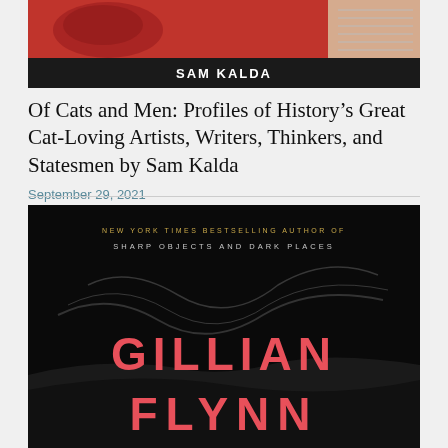[Figure (photo): Top portion of book cover 'Of Cats and Men' by Sam Kalda, showing red and black design with author name in white text]
Of Cats and Men: Profiles of History’s Great Cat-Loving Artists, Writers, Thinkers, and Statesmen by Sam Kalda
September 29, 2021
[Figure (photo): Book cover of a Gillian Flynn book, black background with pink/red author name text 'GILLIAN FLYNN' and small text at top reading 'NEW YORK TIMES BESTSELLING AUTHOR OF SHARP OBJECTS AND DARK PLACES']